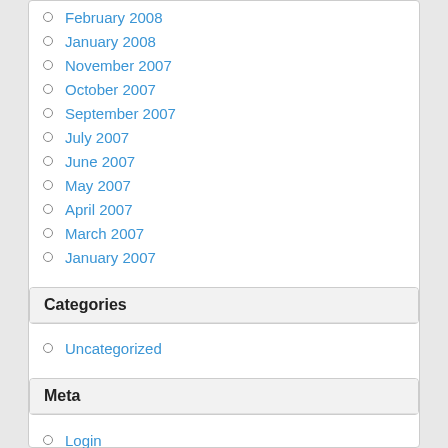February 2008
January 2008
November 2007
October 2007
September 2007
July 2007
June 2007
May 2007
April 2007
March 2007
January 2007
Categories
Uncategorized
Meta
Login